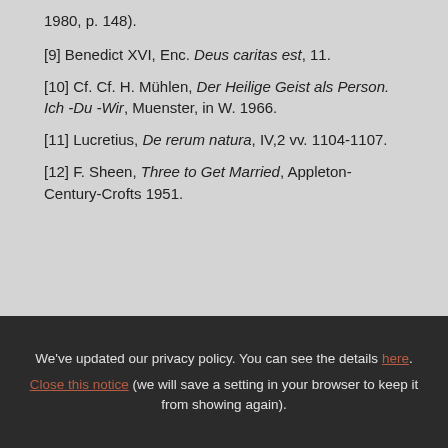1980, p. 148).
[9] Benedict XVI, Enc. Deus caritas est, 11.
[10] Cf. Cf. H. Mühlen, Der Heilige Geist als Person. Ich -Du -Wir, Muenster, in W. 1966.
[11] Lucretius, De rerum natura, IV,2 vv. 1104-1107.
[12] F. Sheen, Three to Get Married, Appleton-Century-Crofts 1951.
We've updated our privacy policy. You can see the details here. Close this notice (we will save a setting in your browser to keep it from showing again).